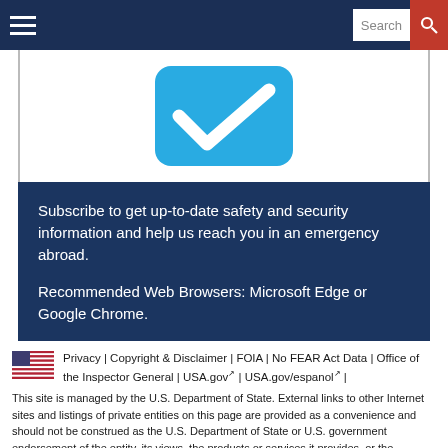Search
[Figure (illustration): A rounded blue square with a white checkmark inside, on a white background with grey border]
Subscribe to get up-to-date safety and security information and help us reach you in an emergency abroad.
Recommended Web Browsers: Microsoft Edge or Google Chrome.
Privacy | Copyright & Disclaimer | FOIA | No FEAR Act Data | Office of the Inspector General | USA.gov | USA.gov/espanol | This site is managed by the U.S. Department of State. External links to other Internet sites and listings of private entities on this page are provided as a convenience and should not be construed as the U.S. Department of State or U.S. government endorsement of the entity, its views, the products or services it provides, or the accuracy of information contained therein. The order in which names appear has no significance, and the listings or links may be removed at